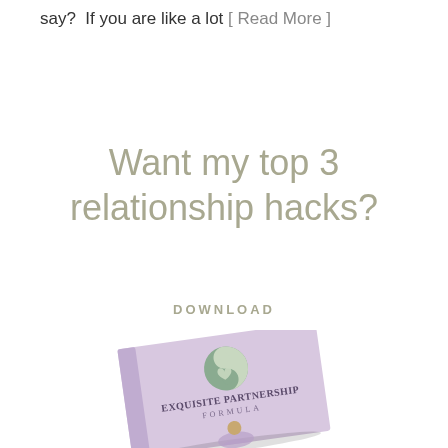say?  If you are like a lot [ Read More ]
Want my top 3 relationship hacks?
DOWNLOAD
[Figure (illustration): Book cover for 'Exquisite Partnership Formula' with a yin-yang style logo featuring a heart, and a person's photo at the bottom. Book is lavender/purple colored and shown at an angle.]